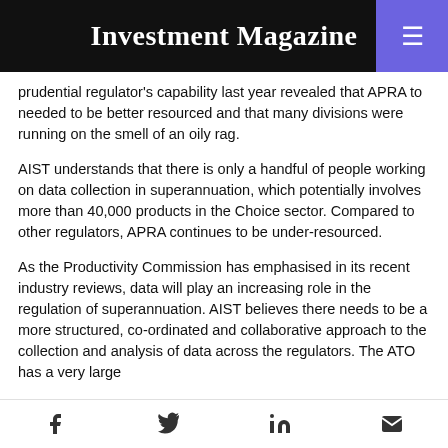Investment Magazine
prudential regulator's capability last year revealed that APRA to needed to be better resourced and that many divisions were running on the smell of an oily rag.
AIST understands that there is only a handful of people working on data collection in superannuation, which potentially involves more than 40,000 products in the Choice sector. Compared to other regulators, APRA continues to be under-resourced.
As the Productivity Commission has emphasised in its recent industry reviews, data will play an increasing role in the regulation of superannuation. AIST believes there needs to be a more structured, co-ordinated and collaborative approach to the collection and analysis of data across the regulators. The ATO has a very large
f  t  in  ✉